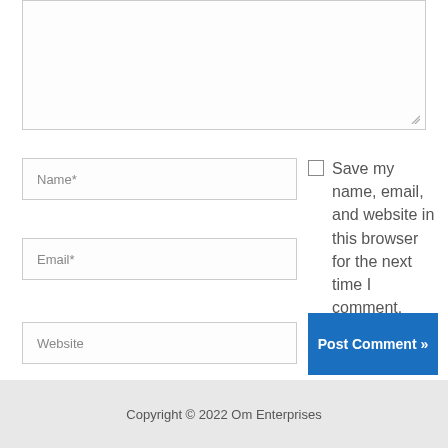[Figure (screenshot): Comment form textarea (empty, resizable) at top of page]
[Figure (screenshot): Name input field with placeholder 'Name*']
[Figure (screenshot): Email input field with placeholder 'Email*']
[Figure (screenshot): Website input field with placeholder 'Website']
Save my name, email, and website in this browser for the next time I comment.
[Figure (screenshot): Post Comment button in blue]
Copyright © 2022 Om Enterprises